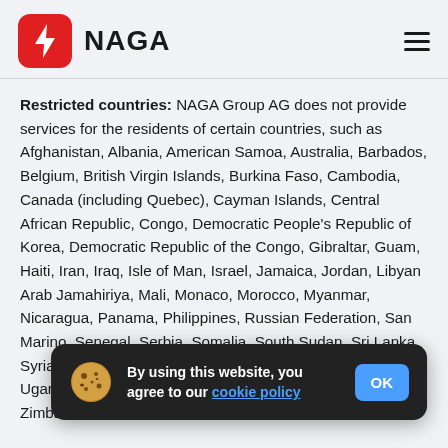NAGA
Restricted countries: NAGA Group AG does not provide services for the residents of certain countries, such as Afghanistan, Albania, American Samoa, Australia, Barbados, Belgium, British Virgin Islands, Burkina Faso, Cambodia, Canada (including Quebec), Cayman Islands, Central African Republic, Congo, Democratic People's Republic of Korea, Democratic Republic of the Congo, Gibraltar, Guam, Haiti, Iran, Iraq, Isle of Man, Israel, Jamaica, Jordan, Libyan Arab Jamahiriya, Mali, Monaco, Morocco, Myanmar, Nicaragua, Panama, Philippines, Russian Federation, San Marino, Senegal, Serbia, Somalia, South Sudan, Sri Lanka, Syrian Arab Republic, Trinidad and Tobago, Tunisia, Turkey, Uganda, Ukraine, United Kingdom, US Minor Islands, US... Zimbabwe.
By using this website, you agree to our cookie policy